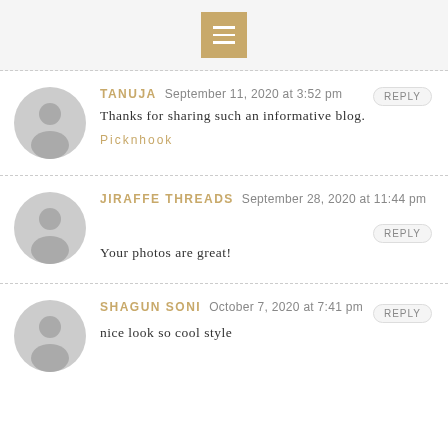Menu icon
TANUJA  September 11, 2020 at 3:52 pm  REPLY
Thanks for sharing such an informative blog.
Picknhook
JIRAFFE THREADS  September 28, 2020 at 11:44 pm  REPLY
Your photos are great!
SHAGUN SONI  October 7, 2020 at 7:41 pm  REPLY
nice look so cool style